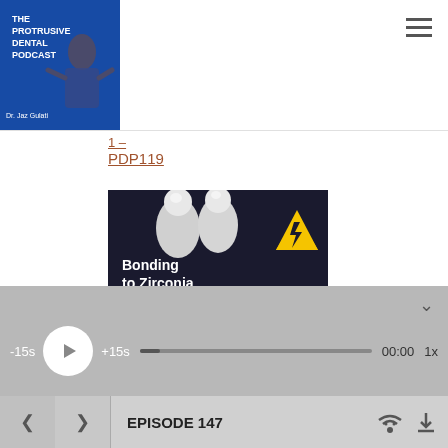[Figure (screenshot): The Protrusive Dental Podcast logo featuring Dr. Jaz Gulati]
1 –
PDP119
[Figure (screenshot): Bonding to Zirconia thumbnail image with lightning bolt warning sign on dark background]
Improving Zirconia Bonding
[Figure (screenshot): Audio player bar with -15s, play button, +15s, progress bar, 00:00 timestamp, and 1x speed controls]
EPISODE 147